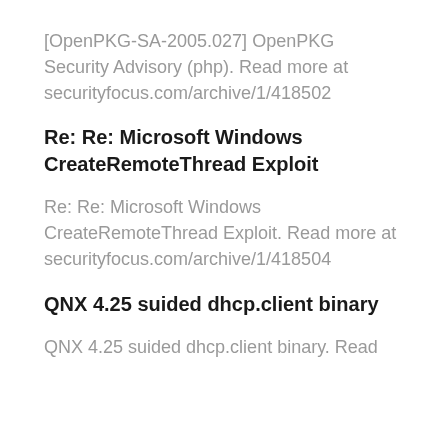[OpenPKG-SA-2005.027] OpenPKG Security Advisory (php). Read more at securityfocus.com/archive/1/418502
Re: Re: Microsoft Windows CreateRemoteThread Exploit
Re: Re: Microsoft Windows CreateRemoteThread Exploit. Read more at securityfocus.com/archive/1/418504
QNX 4.25 suided dhcp.client binary
QNX 4.25 suided dhcp.client binary. Read